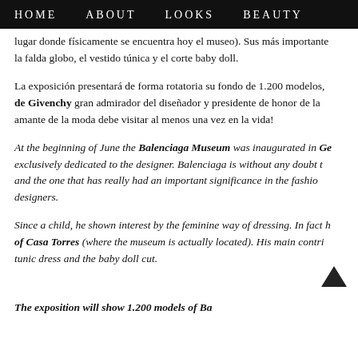HOME   ABOUT   LOOKS   BEAUTY
lugar donde físicamente se encuentra hoy el museo). Sus más importante la falda globo, el vestido túnica y el corte baby doll.
La exposición presentará de forma rotatoria su fondo de 1.200 modelos, de Givenchy gran admirador del diseñador y presidente de honor de la amante de la moda debe visitar al menos una vez en la vida!
At the beginning of June the Balenciaga Museum was inaugurated in Ge exclusively dedicated to the designer. Balenciaga is without any doubt t and the one that has really had an important significance in the fashio designers.
Since a child, he shown interest by the feminine way of dressing. In fact h of Casa Torres (where the museum is actually located). His main contri tunic dress and the baby doll cut.
The exposition will show 1.200 models of Ba... (which is located in mu...